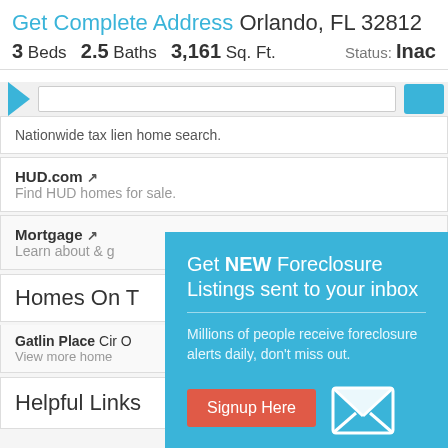Get Complete Address Orlando, FL 32812
3 Beds  2.5 Baths  3,161 Sq. Ft.  Status: Inac
Nationwide tax lien home search.
HUD.com ↗
Find HUD homes for sale.
Mortgage ↗
Learn about & g
Homes On T
Gatlin Place Cir O
View more home
[Figure (infographic): Popup modal with teal background: 'Get NEW Foreclosure Listings sent to your inbox'. Subtext: 'Millions of people receive foreclosure alerts daily, don't miss out.' Red 'Signup Here' button. Envelope icon. Links: No Thanks | Remind Me Later]
Helpful Links